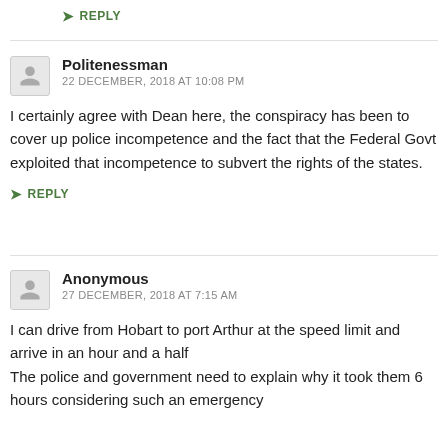↳ REPLY
Politenessman
22 DECEMBER, 2018 AT 10:08 PM
I certainly agree with Dean here, the conspiracy has been to cover up police incompetence and the fact that the Federal Govt exploited that incompetence to subvert the rights of the states.
↳ REPLY
Anonymous
27 DECEMBER, 2018 AT 7:15 AM
I can drive from Hobart to port Arthur at the speed limit and arrive in an hour and a half
The police and government need to explain why it took them 6 hours considering such an emergency